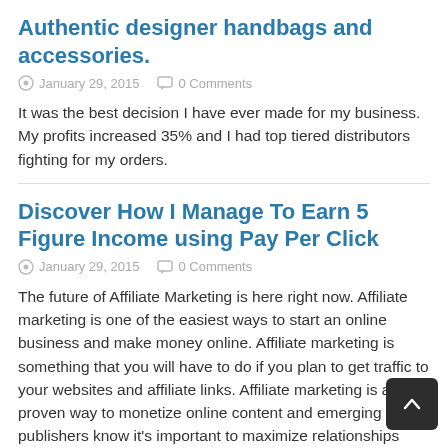Authentic designer handbags and accessories.
January 29, 2015    0 Comments
It was the best decision I have ever made for my business. My profits increased 35% and I had top tiered distributors fighting for my orders.
Discover How I Manage To Earn 5 Figure Income using Pay Per Click
January 29, 2015    0 Comments
The future of Affiliate Marketing is here right now. Affiliate marketing is one of the easiest ways to start an online business and make money online. Affiliate marketing is something that you will have to do if you plan to get traffic to your websites and affiliate links. Affiliate marketing is a proven way to monetize online content and emerging publishers know it's important to maximize relationships with vendors…